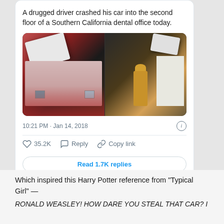A drugged driver crashed his car into the second floor of a Southern California dental office today.
[Figure (photo): Two side-by-side news photos showing a car crashed into the second floor of a building. Left photo shows the car embedded in the building facade with red emergency lighting. Right photo shows a firefighter standing outside viewing the car perched on the second floor.]
10:21 PM · Jan 14, 2018
35.2K    Reply    Copy link
Read 1.7K replies
Which inspired this Harry Potter reference from “Typical Girl” —
RONALD WEASLEY! HOW DARE YOU STEAL THAT CAR? I